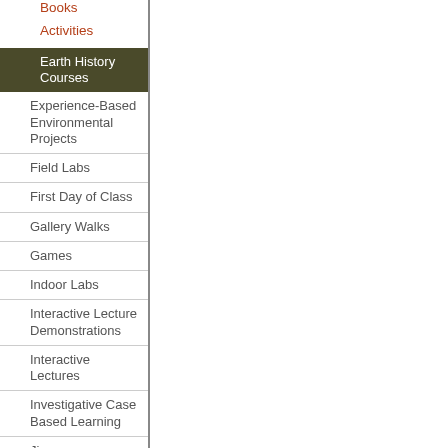Books
Activities
Earth History Courses
Experience-Based Environmental Projects
Field Labs
First Day of Class
Gallery Walks
Games
Indoor Labs
Interactive Lecture Demonstrations
Interactive Lectures
Investigative Case Based Learning
Jigsaws
Just in Time Teaching
Mathematical and Statistical Models
Models
Peer Review